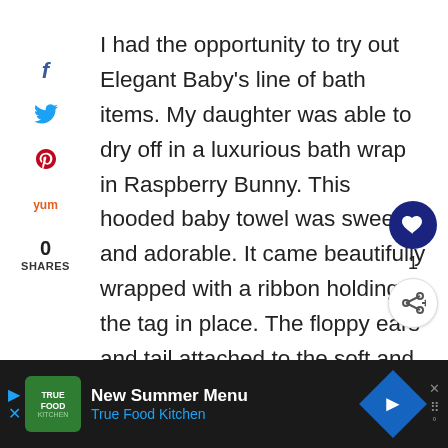I had the opportunity to try out Elegant Baby's line of bath items. My daughter was able to dry off in a luxurious bath wrap in Raspberry Bunny. This hooded baby towel was sweet and adorable. It came beautifully wrapped with a ribbon holding the tag in place. The floppy ears and tail attached to the soft and luxurious bath wrap made my little girl look extra huggable after her bath! She was able to appreciate the cuteness of
[Figure (screenshot): Advertisement banner at bottom: True Food Kitchen - New Summer Menu ad on dark background with navigation icon]